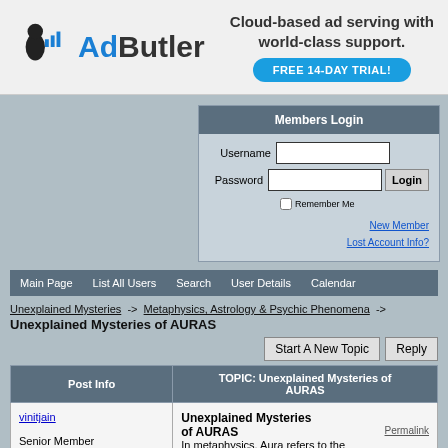[Figure (logo): AdButler logo with cloud-based ad serving tagline and Free 14-Day Trial button]
[Figure (screenshot): Members Login form with Username, Password fields, Login button, Remember Me checkbox, New Member and Lost Account Info links]
[Figure (screenshot): Navigation bar with Main Page, List All Users, Search, User Details, Calendar links]
Unexplained Mysteries -> Metaphysics, Astrology & Psychic Phenomena -> Unexplained Mysteries of AURAS
| Post Info | TOPIC: Unexplained Mysteries of AURAS |
| --- | --- |
| vinitjain

Senior Member | Unexplained Mysteries of AURAS
Permalink
In metaphysics, Aura refers to the |